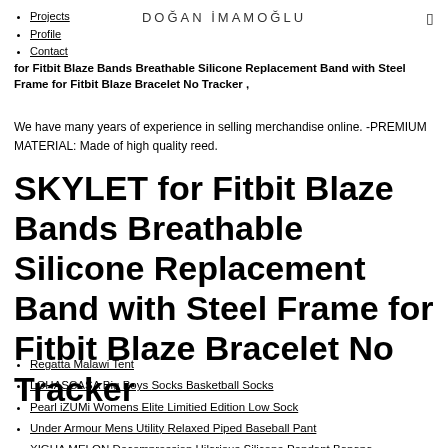DOĞAN İMAMOĞLU
Projects
Profile
Contact
for Fitbit Blaze Bands Breathable Silicone Replacement Band with Steel Frame for Fitbit Blaze Bracelet No Tracker ,
We have many years of experience in selling merchandise online. -PREMIUM MATERIAL: Made of high quality reed.
SKYLET for Fitbit Blaze Bands Breathable Silicone Replacement Band with Steel Frame for Fitbit Blaze Bracelet No Tracker
Regatta Malawi Tent
LOHASCASA Big Boys Socks Basketball Socks
Pearl iZUMi Womens Elite Limitied Edition Low Sock
Under Armour Mens Utility Relaxed Piped Baseball Pant
XIGUA MELON Decompression Hilarious Silicone Pendant Banana